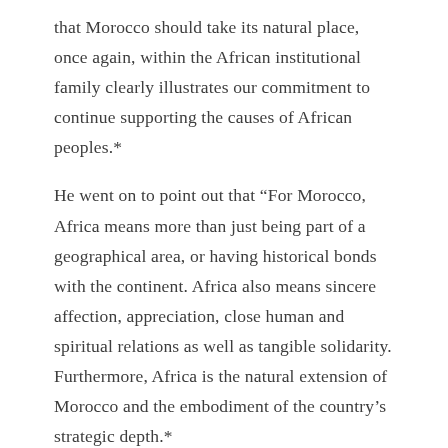that Morocco should take its natural place, once again, within the African institutional family clearly illustrates our commitment to continue supporting the causes of African peoples.*
He went on to point out that “For Morocco, Africa means more than just being part of a geographical area, or having historical bonds with the continent. Africa also means sincere affection, appreciation, close human and spiritual relations as well as tangible solidarity. Furthermore, Africa is the natural extension of Morocco and the embodiment of the country’s strategic depth.*
MOROCCO’S FRIENDSHIP HAS MANY BENEFITS
Morocco’s efforts are multi-dimensional, involving